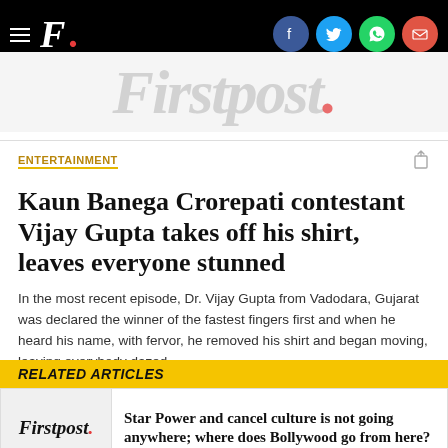F. Firstpost — with social icons: Facebook, Twitter, WhatsApp, Email
[Figure (logo): Firstpost large watermark logo in grey behind header]
ENTERTAINMENT
Kaun Banega Crorepati contestant Vijay Gupta takes off his shirt, leaves everyone stunned
In the most recent episode, Dr. Vijay Gupta from Vadodara, Gujarat was declared the winner of the fastest fingers first and when he heard his name, with fervor, he removed his shirt and began moving, leaving everybody dazed
RELATED ARTICLES
[Figure (logo): Firstpost logo thumbnail]
Star Power and cancel culture is not going anywhere; where does Bollywood go from here?